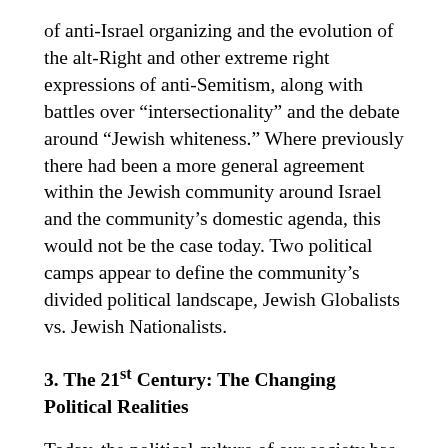of anti-Israel organizing and the evolution of the alt-Right and other extreme right expressions of anti-Semitism, along with battles over “intersectionality” and the debate around “Jewish whiteness.” Where previously there had been a more general agreement within the Jewish community around Israel and the community’s domestic agenda, this would not be the case today. Two political camps appear to define the community’s divided political landscape, Jewish Globalists vs. Jewish Nationalists.
3. The 21st Century: The Changing Political Realities
Today, the political culture of our society has radically changed. Among the more significant factors are the following, though not complete: